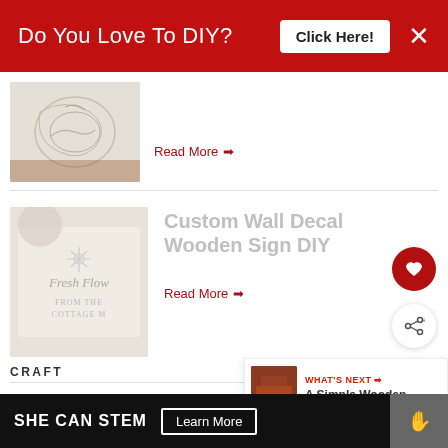Do You Love To DIY? Click Here!
[Figure (photo): Partial top of a craft/DIY article thumbnail showing decorative scrollwork on paper]
Read More →
[Figure (photo): DIY wooden sign with cursive lettering showing 'Fresh Flowers' and 'FROM THE COTTAGE MARKET']
Custom Wall Decal Wooden Sign DIY
Read More →
CRAFT
[Figure (photo): What's Next thumbnail: A Simple Wooden... article preview image]
WHAT'S NEXT → A Simple Wooden...
Sonny G
OCTOBER 17, 2016 AT 10:05 AM
SHE CAN STEM Learn More